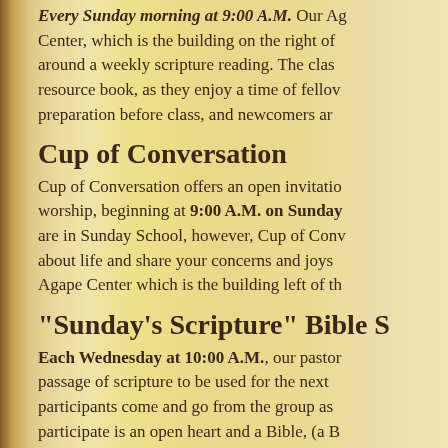Every Sunday morning at 9:00 A.M. Our Agape Center, which is the building on the right of around a weekly scripture reading. The class resource book, as they enjoy a time of fellowship preparation before class, and newcomers are
Cup of Conversation
Cup of Conversation offers an open invitation worship, beginning at 9:00 A.M. on Sunday are in Sunday School, however, Cup of Conversation about life and share your concerns and joys Agape Center which is the building left of th
“Sunday’s Scripture” Bible S
Each Wednesday at 10:00 A.M., our pastor passage of scripture to be used for the next participants come and go from the group as participate is an open heart and a Bible, (a B family, and newcomers are always welcome